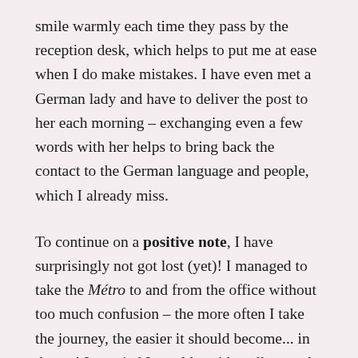smile warmly each time they pass by the reception desk, which helps to put me at ease when I do make mistakes. I have even met a German lady and have to deliver the post to her each morning – exchanging even a few words with her helps to bring back the contact to the German language and people, which I already miss.
To continue on a positive note, I have surprisingly not got lost (yet)! I managed to take the Métro to and from the office without too much confusion – the more often I take the journey, the easier it should become... in theory! I worried I would accidentally travel in the opposite direction, as I have done many times on the London Underground, and again on the Heidelberg trams in August. Looking out for specific road names